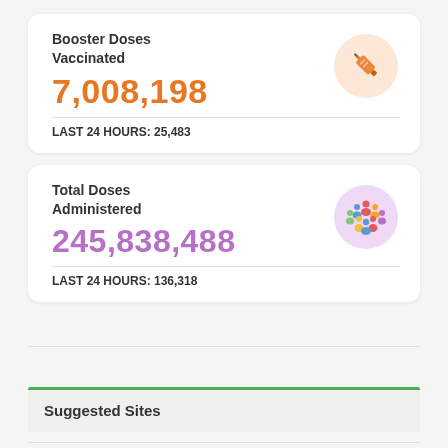Booster Doses Vaccinated
7,008,198
LAST 24 HOURS: 25,483
[Figure (illustration): Syringe/injection icon in orange on a light orange circular background]
Total Doses Administered
245,838,488
LAST 24 HOURS: 136,318
[Figure (illustration): Group of people icon in multicolor on a light purple circular background]
Suggested Sites
Crypto News